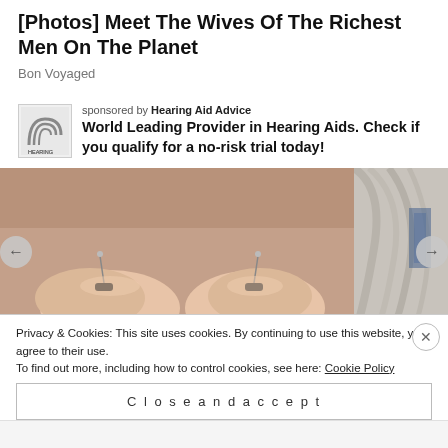[Photos] Meet The Wives Of The Richest Men On The Planet
Bon Voyaged
sponsored by Hearing Aid Advice
World Leading Provider in Hearing Aids. Check if you qualify for a no-risk trial today!
[Figure (photo): Two hands holding small hearing aid devices with thin metal pins, photographed close-up on a brownish surface. A second partially visible photo shows a person's ear/hair from behind.]
Privacy & Cookies: This site uses cookies. By continuing to use this website, you agree to their use.
To find out more, including how to control cookies, see here: Cookie Policy
Close and accept